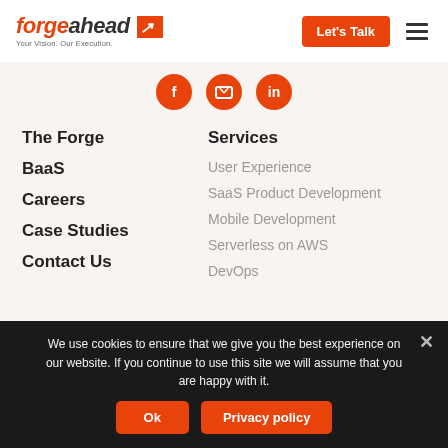forgeahead - Your Vision. Our Execution.
[Figure (illustration): Three orange circular social media icons in a row]
The Forge
BaaS
Careers
Case Studies
Contact Us
Services
User Experience
SaaS Product Development
Mobile Development
Serverless on AWS
DevOps
We use cookies to ensure that we give you the best experience on our website. If you continue to use this site we will assume that you are happy with it.
Ok
Privacy policy